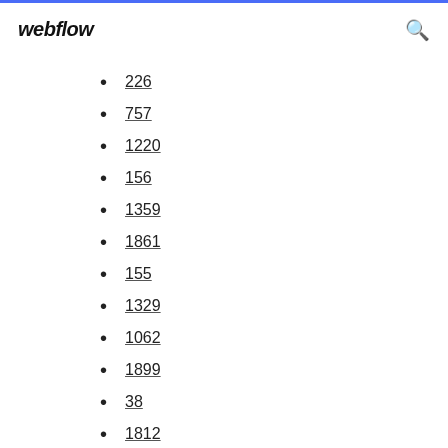webflow
226
757
1220
156
1359
1861
155
1329
1062
1899
38
1812